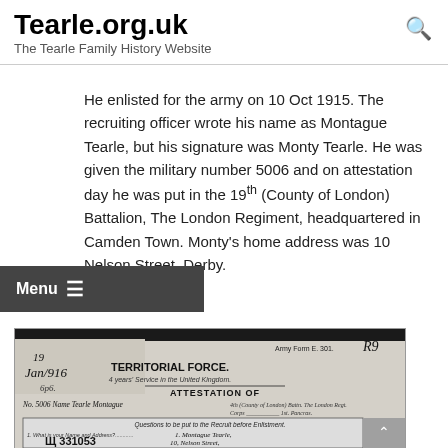Tearle.org.uk — The Tearle Family History Website
He enlisted for the army on 10 Oct 1915. The recruiting officer wrote his name as Montague Tearle, but his signature was Monty Tearle. He was given the military number 5006 and on attestation day he was put in the 19th (County of London) Battalion, The London Regiment, headquartered in Camden Town. Monty's home address was 10 Nelson Street, Derby.
[Figure (photo): Scanned Army Form E 301 Territorial Force attestation document for No. 5006 Tearle, Montague, dated 19/1/916. Shows 'TERRITORIAL FORCE. 4 years Service in the United Kingdom. ATTESTATION OF No. 5006 Name Tearle Montague ... Corps 4th (County of London) Battn. The London Regt. Questions to be put to the Recruit before Enlistment. 1. What is your Name and Address? 1. Montague Tearle, 10, Nelson Street, Derby. Reference number 331053.']